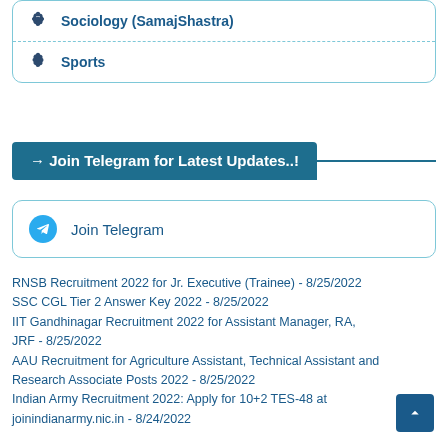Sociology (SamajShastra)
Sports
→ Join Telegram for Latest Updates..!
Join Telegram
RNSB Recruitment 2022 for Jr. Executive (Trainee)  - 8/25/2022
SSC CGL Tier 2 Answer Key 2022 - 8/25/2022
IIT Gandhinagar Recruitment 2022 for Assistant Manager, RA, JRF - 8/25/2022
AAU Recruitment for Agriculture Assistant, Technical Assistant and Research Associate Posts 2022 - 8/25/2022
Indian Army Recruitment 2022: Apply for 10+2 TES-48 at joinindianarmy.nic.in - 8/24/2022